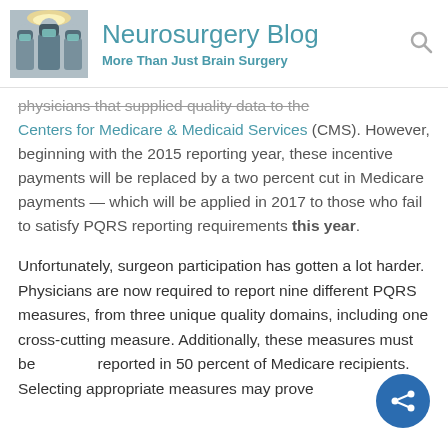Neurosurgery Blog — More Than Just Brain Surgery
physicians that supplied quality data to the Centers for Medicare & Medicaid Services (CMS). However, beginning with the 2015 reporting year, these incentive payments will be replaced by a two percent cut in Medicare payments — which will be applied in 2017 to those who fail to satisfy PQRS reporting requirements this year.
Unfortunately, surgeon participation has gotten a lot harder. Physicians are now required to report nine different PQRS measures, from three unique quality domains, including one cross-cutting measure. Additionally, these measures must be reported in 50 percent of Medicare recipients. Selecting appropriate measures may prove